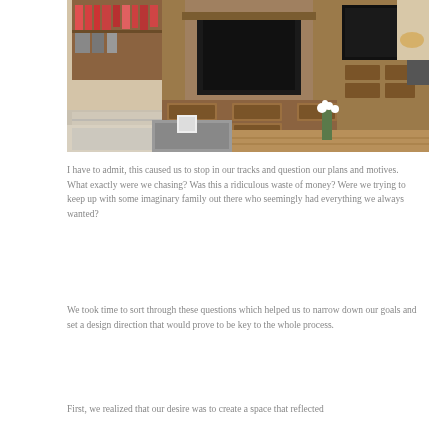[Figure (photo): Interior living room photo showing a wooden entertainment center with built-in shelves, fireplace, flat-screen TV, drawers, wood floor, and a white ottoman/couch in the foreground with white flowers in a vase.]
I have to admit, this caused us to stop in our tracks and question our plans and motives. What exactly were we chasing? Was this a ridiculous waste of money? Were we trying to keep up with some imaginary family out there who seemingly had everything we always wanted?
We took time to sort through these questions which helped us to narrow down our goals and set a design direction that would prove to be key to the whole process.
First, we realized that our desire was to create a space that reflected